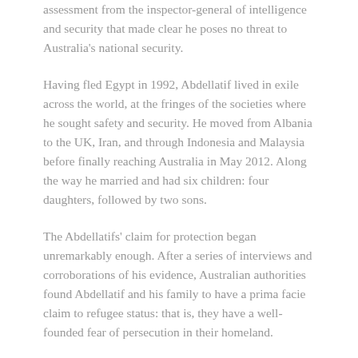assessment from the inspector-general of intelligence and security that made clear he poses no threat to Australia's national security.
Having fled Egypt in 1992, Abdellatif lived in exile across the world, at the fringes of the societies where he sought safety and security. He moved from Albania to the UK, Iran, and through Indonesia and Malaysia before finally reaching Australia in May 2012. Along the way he married and had six children: four daughters, followed by two sons.
The Abdellatifs' claim for protection began unremarkably enough. After a series of interviews and corroborations of his evidence, Australian authorities found Abdellatif and his family to have a prima facie claim to refugee status: that is, they have a well-founded fear of persecution in their homeland.